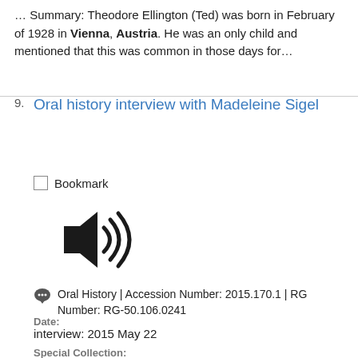… Summary: Theodore Ellington (Ted) was born in February of 1928 in Vienna, Austria. He was an only child and mentioned that this was common in those days for…
9. Oral history interview with Madeleine Sigel
Bookmark
[Figure (other): Audio/speaker icon indicating an audio recording]
Oral History | Accession Number: 2015.170.1 | RG Number: RG-50.106.0241
Date: interview: 2015 May 22
Special Collection: